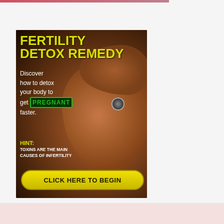[Figure (infographic): Advertisement banner for 'Fertility Detox Remedy' showing a pregnant woman's belly against a dark background. Yellow bold text reads 'FERTILITY DETOX REMEDY'. White text says 'Discover how to detox your body to get PREGNANT faster.' A hint section reads 'HINT: TOXINS ARE THE MAIN CAUSES OF INFERTILITY'. A yellow call-to-action button at the bottom reads 'CLICK HERE TO BEGIN'.]